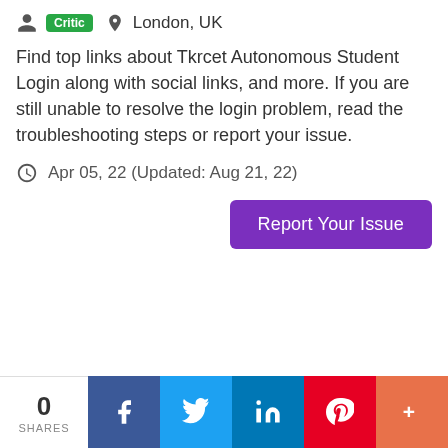Critic  London, UK
Find top links about Tkrcet Autonomous Student Login along with social links, and more. If you are still unable to resolve the login problem, read the troubleshooting steps or report your issue.
Apr 05, 22 (Updated: Aug 21, 22)
Report Your Issue
0 SHARES